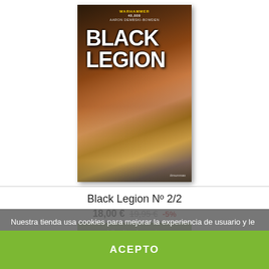[Figure (photo): Book cover of 'Black Legion Nº 2/2' from Warhammer series (Timun Mas publisher), showing armored space warriors in dark fantasy artwork]
Black Legion Nº 2/2
18,00 € 19,95 € -5%
Añadir al carrito
Nuestra tienda usa cookies para mejorar la experiencia de usuario y le recomendamos aceptar su uso para aprovechar plenamente la navegación.
Más información   Gestionar cookies
ACEPTO